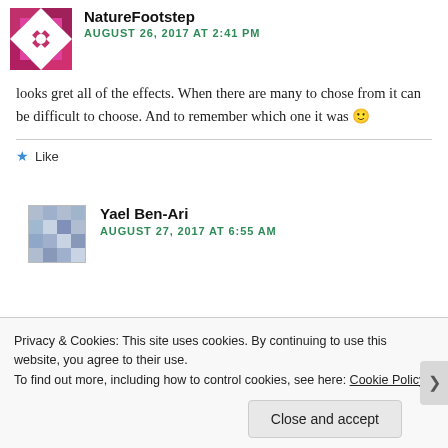NatureFootstep
AUGUST 26, 2017 AT 2:41 PM
looks gret all of the effects. When there are many to chose from it can be difficult to choose. And to remember which one it was 🙂
Like
Yael Ben-Ari
AUGUST 27, 2017 AT 6:55 AM
Privacy & Cookies: This site uses cookies. By continuing to use this website, you agree to their use.
To find out more, including how to control cookies, see here: Cookie Policy
Close and accept